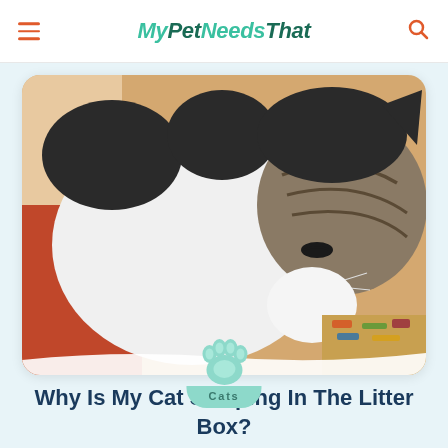MyPetNeedsThat
[Figure (photo): A black and white cat sniffing or nuzzling a person wearing a red shirt, with a colorful patterned surface in background. Close-up photograph.]
Cats
Why Is My Cat Sleeping In The Litter Box?